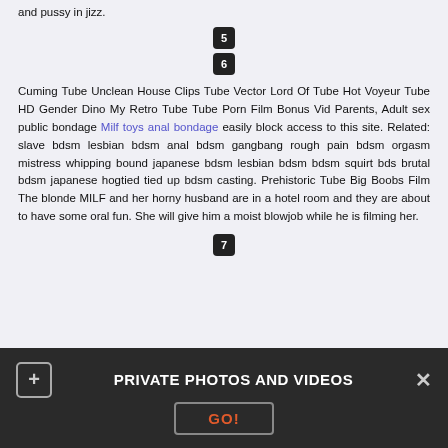and pussy in jizz.
[Figure (other): Pagination buttons showing numbers 5 and 6 in dark rounded squares]
Cuming Tube Unclean House Clips Tube Vector Lord Of Tube Hot Voyeur Tube HD Gender Dino My Retro Tube Tube Porn Film Bonus Vid Parents, Adult sex public bondage Milf toys anal bondage easily block access to this site. Related: slave bdsm lesbian bdsm anal bdsm gangbang rough pain bdsm orgasm mistress whipping bound japanese bdsm lesbian bdsm bdsm squirt bds brutal bdsm japanese hogtied tied up bdsm casting. Prehistoric Tube Big Boobs Film The blonde MILF and her horny husband are in a hotel room and they are about to have some oral fun. She will give him a moist blowjob while he is filming her.
[Figure (other): Pagination button showing number 7 in dark rounded square]
PRIVATE PHOTOS AND VIDEOS  GO!